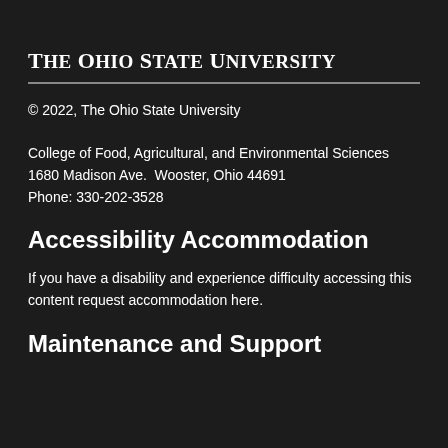The Ohio State University
© 2022, The Ohio State University

College of Food, Agricultural, and Environmental Sciences
1680 Madison Ave.  Wooster, Ohio 44691
Phone: 330-202-3528
Accessibility Accommodation
If you have a disability and experience difficulty accessing this content request accommodation here.
Maintenance and Support